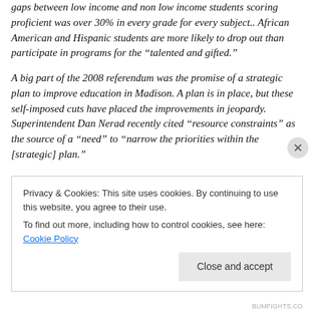gaps between low income and non low income students scoring proficient was over 30% in every grade for every subject.. African American and Hispanic students are more likely to drop out than participate in programs for the “talented and gifted.”
A big part of the 2008 referendum was the promise of a strategic plan to improve education in Madison. A plan is in place, but these self-imposed cuts have placed the improvements in jeopardy. Superintendent Dan Nerad recently cited “resource constraints” as the source of a “need” to “narrow the priorities within the [strategic] plan.”
Privacy & Cookies: This site uses cookies. By continuing to use this website, you agree to their use.
To find out more, including how to control cookies, see here: Cookie Policy
BUMFIGHTS.CO